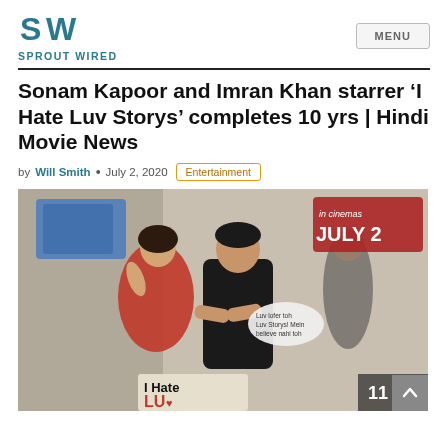[Figure (logo): Sprout Wired logo with stylized SW icon and text SPROUT WIRED in teal]
MENU
Sonam Kapoor and Imran Khan starrer ‘I Hate Luv Storys’ completes 10 yrs | Hindi Movie News
by Will Smith • July 2, 2020 Entertainment
[Figure (photo): Movie poster or promotional image for I Hate Luv Storys featuring a woman in red dress and a man in black shirt, with 'I Hate Luv' text visible and 'in cinemas JULY 2' in the top right]